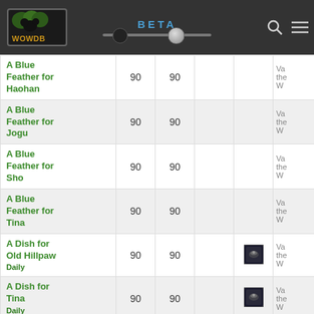WOWDB BETA
| Quest |  |  |  |  |  |
| --- | --- | --- | --- | --- | --- |
| A Blue Feather for Haohan | 90 | 90 |  |  | Va... the... W... |
| A Blue Feather for Jogu | 90 | 90 |  |  | Va... the... W... |
| A Blue Feather for Sho | 90 | 90 |  |  | Va... the... W... |
| A Blue Feather for Tina | 90 | 90 |  |  | Va... the... W... |
| A Dish for Old Hillpaw
Daily | 90 | 90 |  | [icon] | Va... the... W... |
| A Dish for Tina
Daily | 90 | 90 |  | [icon] | Va... the... W... |
| A Jade Cat for Chee Chee | 90 | 90 |  |  | the... W... |